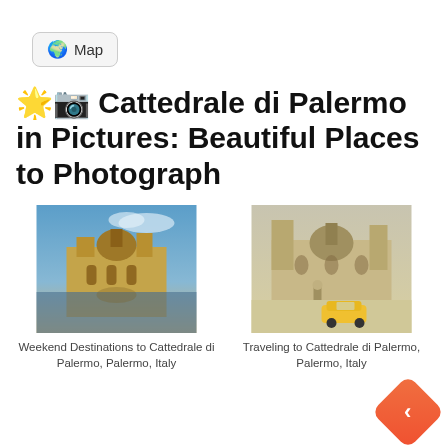[Figure (screenshot): Map button with globe emoji]
📸 Cattedrale di Palermo in Pictures: Beautiful Places to Photograph
[Figure (photo): Photo of Cattedrale di Palermo reflected in water with blue sky]
Weekend Destinations to Cattedrale di Palermo, Palermo, Italy
[Figure (photo): Photo of Cattedrale di Palermo with yellow vintage car in foreground]
Traveling to Cattedrale di Palermo, Palermo, Italy